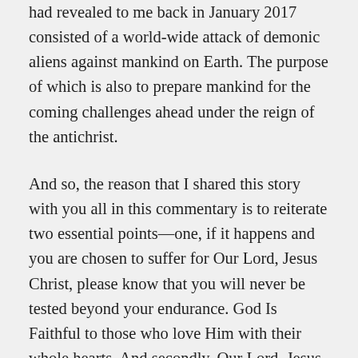had revealed to me back in January 2017 consisted of a world-wide attack of demonic aliens against mankind on Earth. The purpose of which is also to prepare mankind for the coming challenges ahead under the reign of the antichrist.
And so, the reason that I shared this story with you all in this commentary is to reiterate two essential points—one, if it happens and you are chosen to suffer for Our Lord, Jesus Christ, please know that you will never be tested beyond your endurance. God Is Faithful to those who love Him with their whole hearts. And secondly, Our Lord, Jesus Christ, has promised Himself numerous times that He will lessen our pain if we suffer martyrdom for the sake of Him. My personal story illustrates how God can and will do this for His chosen ones.